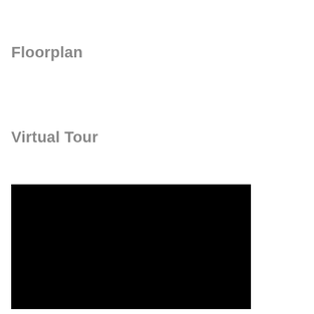Floorplan
Virtual Tour
[Figure (other): A black rectangular area representing a virtual tour embed or placeholder image.]